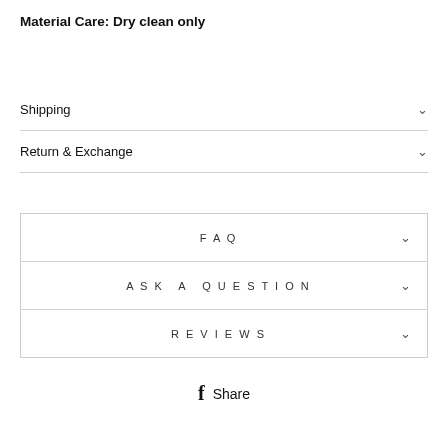Material Care: Dry clean only
Shipping
Return & Exchange
FAQ
ASK A QUESTION
REVIEWS
Share